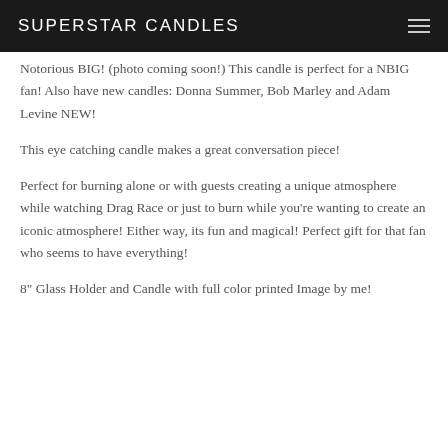SUPERSTAR CANDLES
Notorious BIG! (photo coming soon!) This candle is perfect for a NBIG fan! Also have new candles: Donna Summer, Bob Marley and Adam Levine NEW!
This eye catching candle makes a great conversation piece!
Perfect for burning alone or with guests creating a unique atmosphere while watching Drag Race or just to burn while you're wanting to create an iconic atmosphere! Either way, its fun and magical! Perfect gift for that fan who seems to have everything!
8" Glass Holder and Candle with full color printed Image by me!